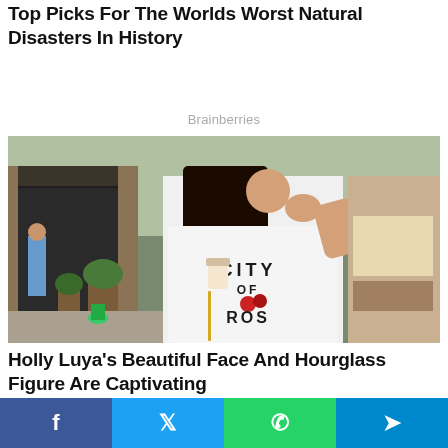Top Picks For The Worlds Worst Natural Disasters In History
Brainberries
[Figure (photo): Woman in white 'City of Roses' long-sleeve shirt posing outside a cafe, viewed from behind showing text on back of shirt]
Holly Luya's Beautiful Face And Hourglass Figure Are Captivating
Herbeauty
[Figure (photo): Partial photo of a person's forehead/face, cropped]
[Figure (infographic): Social share bar with Facebook, Twitter, WhatsApp, and Telegram buttons]